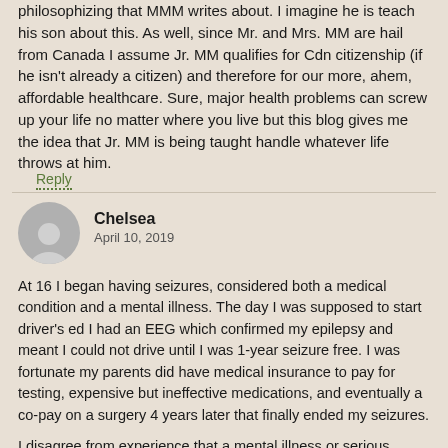philosophizing that MMM writes about. I imagine he is teach his son about this. As well, since Mr. and Mrs. MM are hail from Canada I assume Jr. MM qualifies for Cdn citizenship (if he isn't already a citizen) and therefore for our more, ahem, affordable healthcare. Sure, major health problems can screw up your life no matter where you live but this blog gives me the idea that Jr. MM is being taught handle whatever life throws at him.
Reply
Chelsea
April 10, 2019
At 16 I began having seizures, considered both a medical condition and a mental illness. The day I was supposed to start driver's ed I had an EEG which confirmed my epilepsy and meant I could not drive until I was 1-year seizure free. I was fortunate my parents did have medical insurance to pay for testing, expensive but ineffective medications, and eventually a co-pay on a surgery 4 years later that finally ended my seizures.
I disagree from experience that a mental illness or serious medical condition can shut you down